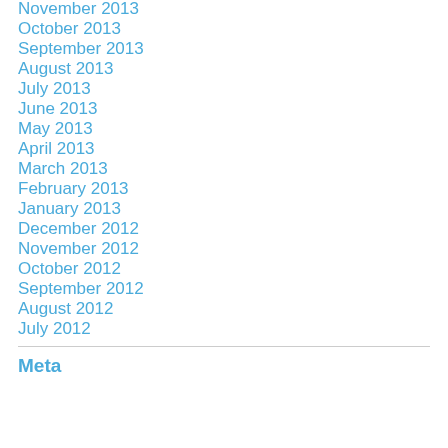November 2013
October 2013
September 2013
August 2013
July 2013
June 2013
May 2013
April 2013
March 2013
February 2013
January 2013
December 2012
November 2012
October 2012
September 2012
August 2012
July 2012
Meta